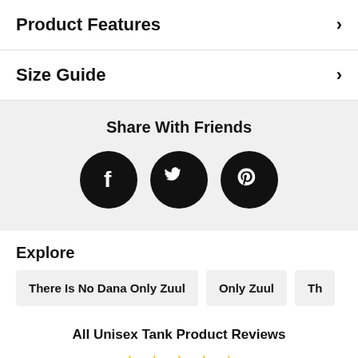Product Features
Size Guide
Share With Friends
[Figure (infographic): Three social media icons (Facebook, Twitter, Pinterest) as white symbols on black circles]
Explore
There Is No Dana Only Zuul
Only Zuul
Th
All Unisex Tank Product Reviews
[Figure (other): Star rating display showing approximately 4.5 stars in yellow/gold]